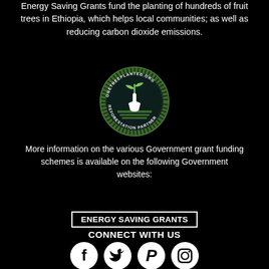Energy Saving Grants fund the planting of hundreds of fruit trees in Ethiopia, which helps local communities; as well as reducing carbon dioxide emissions.
[Figure (logo): OneTreePlanted.org Reforestation Partner circular badge with plant/shovel icon]
More information on the various Government grant funding schemes is available on the following Government websites:
ENERGY SAVING GRANTS
CONNECT WITH US
[Figure (infographic): Social media icons: Facebook, Twitter, Pinterest, Instagram]
LEGAL